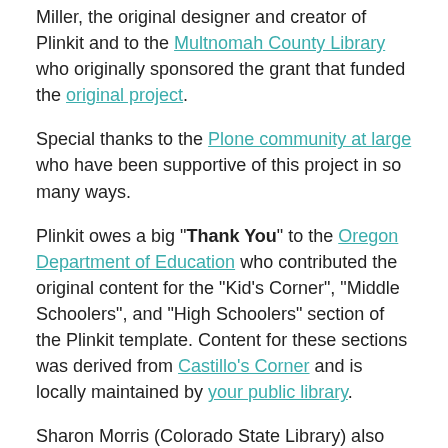Miller, the original designer and creator of Plinkit and to the Multnomah County Library who originally sponsored the grant that funded the original project.
Special thanks to the Plone community at large who have been supportive of this project in so many ways.
Plinkit owes a big "Thank You" to the Oregon Department of Education who contributed the original content for the "Kid's Corner", "Middle Schoolers", and "High Schoolers" section of the Plinkit template. Content for these sections was derived from Castillo's Corner and is locally maintained by your public library.
Sharon Morris (Colorado State Library) also contributed additional content for the Español section the Homework and Research Sites page.